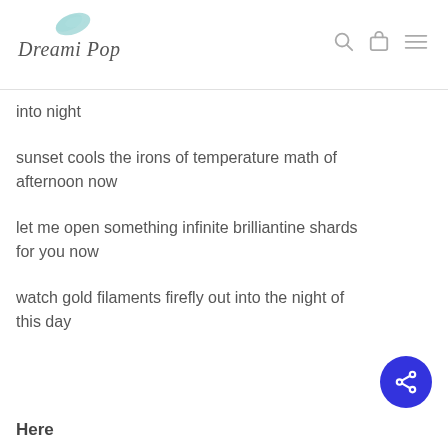Dreami Pop
into night
sunset cools the irons of temperature math of afternoon now
let me open something infinite brilliantine shards for you now
watch gold filaments firefly out into the night of this day
[Figure (other): Blue circular share button with share icon]
Here